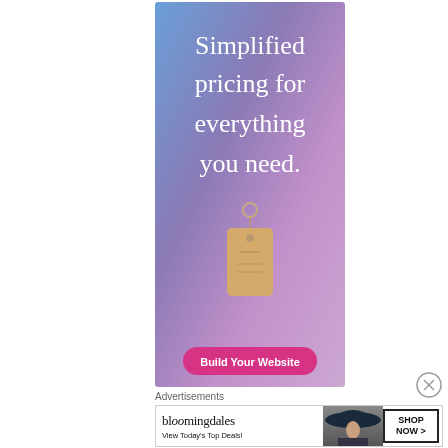[Figure (illustration): Advertisement banner with gradient blue-to-purple background. Large white serif text reads 'Simplified pricing for everything you need.' with a hanging price tag illustration below the text. A pink rounded button at the bottom reads 'Build Your Website'.]
Advertisements
[Figure (illustration): Bloomingdale's advertisement banner. Left side shows logo text 'bloomingdales' and tagline 'View Today's Top Deals!'. Center shows a model wearing a wide-brim hat. Right side shows a button 'SHOP NOW >']